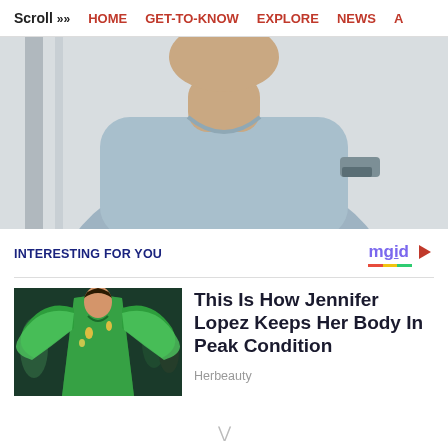Scroll >> HOME  GET-TO-KNOW  EXPLORE  NEWS  A
[Figure (photo): Person wearing a grey sweatshirt, photographed from roughly chest-up against a light background]
INTERESTING FOR YOU
[Figure (logo): mgid logo with play button icon]
[Figure (photo): Jennifer Lopez wearing a green Versace dress at an event]
This Is How Jennifer Lopez Keeps Her Body In Peak Condition
Herbeauty